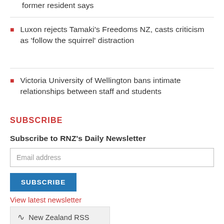former resident says
Luxon rejects Tamaki's Freedoms NZ, casts criticism as 'follow the squirrel' distraction
Victoria University of Wellington bans intimate relationships between staff and students
SUBSCRIBE
Subscribe to RNZ's Daily Newsletter
Email address
SUBSCRIBE
View latest newsletter
New Zealand RSS
Follow RNZ News